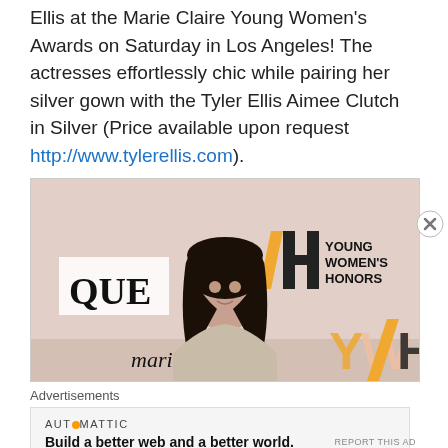Ellis at the Marie Claire Young Women's Awards on Saturday in Los Angeles! The actresses effortlessly chic while pairing her silver gown with the Tyler Ellis Aimee Clutch in Silver (Price available upon request http://www.tylerellis.com).
[Figure (photo): Woman with long dark hair in a silver gown posing at a Marie Claire Young Women's Honors event backdrop]
Advertisements
AUTOMATTIC
Build a better web and a better world.